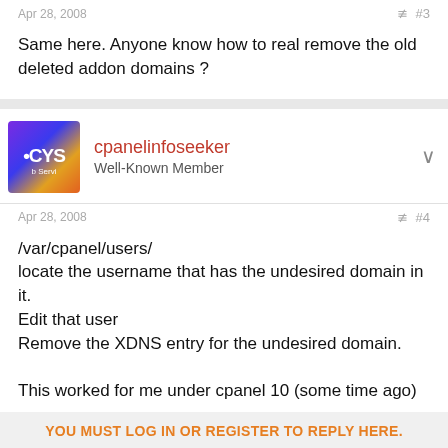Apr 28, 2008
#3
Same here. Anyone know how to real remove the old deleted addon domains ?
cpanelinfoseeker
Well-Known Member
Apr 28, 2008
#4
/var/cpanel/users/
locate the username that has the undesired domain in it.
Edit that user
Remove the XDNS entry for the undesired domain.

This worked for me under cpanel 10 (some time ago)

Hope it helps,
Ron
YOU MUST LOG IN OR REGISTER TO REPLY HERE.